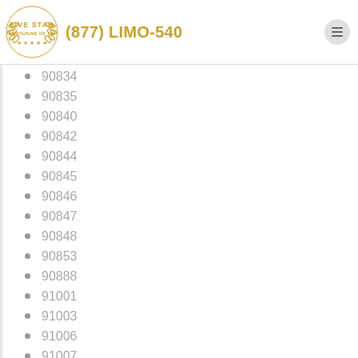[Figure (logo): Five Star Limousine of LA gold wreath logo with five stars]
(877) LIMO-540
90834
90835
90840
90842
90844
90845
90846
90847
90848
90853
90888
91001
91003
91006
91007
91008
91009